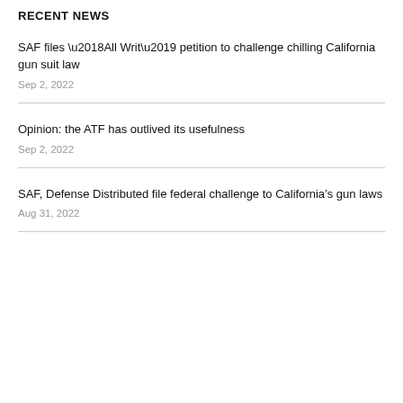RECENT NEWS
SAF files ‘All Writ’ petition to challenge chilling California gun suit law
Sep 2, 2022
Opinion: the ATF has outlived its usefulness
Sep 2, 2022
SAF, Defense Distributed file federal challenge to California’s gun laws
Aug 31, 2022